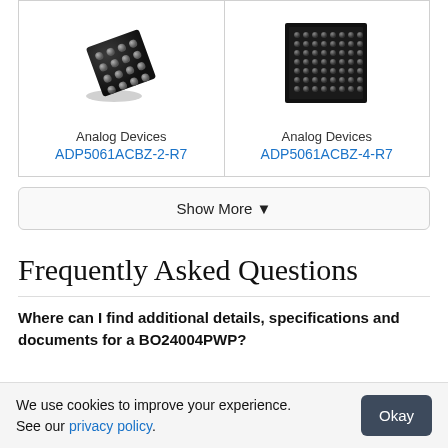[Figure (photo): Product card for Analog Devices ADP5061ACBZ-2-R7: photo of small BGA chip package with solder balls, brand name 'Analog Devices' and product link below]
[Figure (photo): Product card for Analog Devices ADP5061ACBZ-4-R7: photo of larger BGA chip package with dense grid of solder balls, brand name 'Analog Devices' and product link below]
Show More ▾
Frequently Asked Questions
Where can I find additional details, specifications and documents for a BO24004PWP?
We use cookies to improve your experience. See our privacy policy.